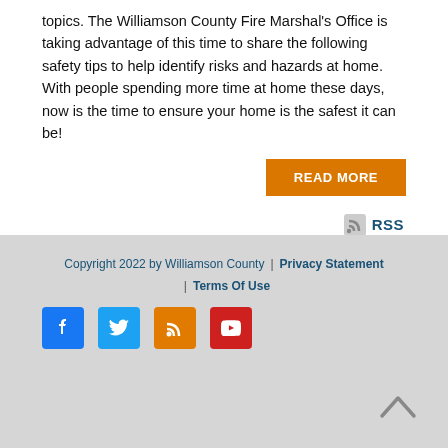topics. The Williamson County Fire Marshal's Office is taking advantage of this time to share the following safety tips to help identify risks and hazards at home. With people spending more time at home these days, now is the time to ensure your home is the safest it can be!
READ MORE
[Figure (other): RSS feed icon with RSS text link in blue]
Copyright 2022 by Williamson County | Privacy Statement | Terms Of Use
[Figure (other): Social media icons: Facebook, Twitter, RSS, YouTube]
[Figure (other): Back to top arrow chevron]